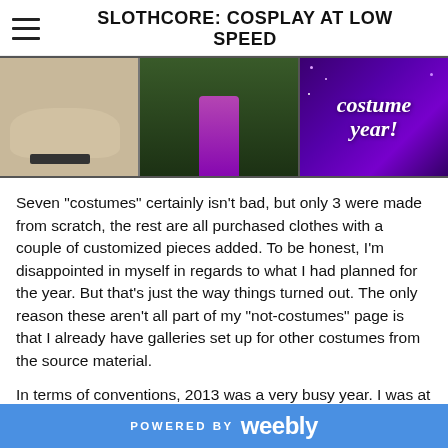SLOTHCORE: COSPLAY AT LOW SPEED
[Figure (photo): Banner image collage showing cosplay photos: person crouching on left, person in purple costume in center, purple sparkly background with italic text 'costume year!' on right]
Seven "costumes" certainly isn't bad, but only 3 were made from scratch, the rest are all purchased clothes with a couple of customized pieces added. To be honest, I'm disappointed in myself in regards to what I had planned for the year. But that's just the way things turned out. The only reason these aren't all part of my "not-costumes" page is that I already have galleries set up for other costumes from the source material.
In terms of conventions, 2013 was a very busy year. I was at G-Anime, Con-G, PAX East, Anime North, Colossal Con, Cosplay Picnic (con equivalent), ConBravo!, Atomic Lollipop,
POWERED BY weebly